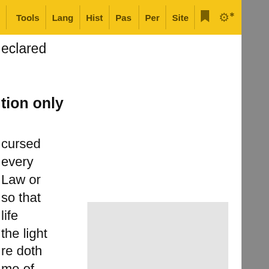[Figure (screenshot): Web browser toolbar with yellow background showing menu items: Tools, Lang, Hist, Pas, Per, Site, bookmark icon, and gear icon]
eclared
tion only
cursed
every
Law or
so that
life
the light
re doth
me of
n must be
[Figure (other): Ads Free button - orange/red rounded square button with person icon and text 'Ads Free']
t is a
en, in
[Figure (other): Gray advertisement placeholder box]